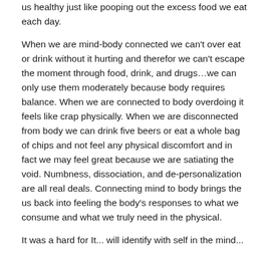us healthy just like pooping out the excess food we eat each day.
When we are mind-body connected we can't over eat or drink without it hurting and therefor we can't escape the moment through food, drink, and drugs…we can only use them moderately because body requires balance. When we are connected to body overdoing it feels like crap physically. When we are disconnected from body we can drink five beers or eat a whole bag of chips and not feel any physical discomfort and in fact we may feel great because we are satiating the void. Numbness, dissociation, and de-personalization are all real deals. Connecting mind to body brings the us back into feeling the body's responses to what we consume and what we truly need in the physical.
It was a hard for It... will identify with self in the mind...